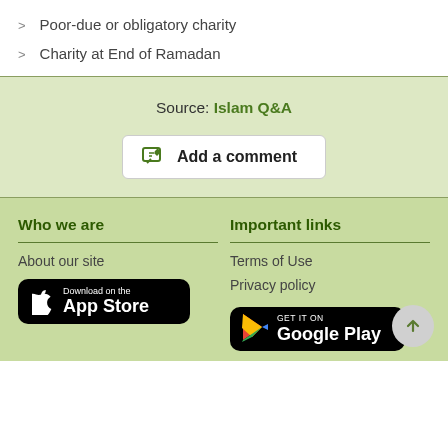Poor-due or obligatory charity
Charity at End of Ramadan
Source: Islam Q&A
Add a comment
Who we are
About our site
[Figure (other): Download on the App Store badge]
Important links
Terms of Use
Privacy policy
[Figure (other): GET IT ON Google Play badge]